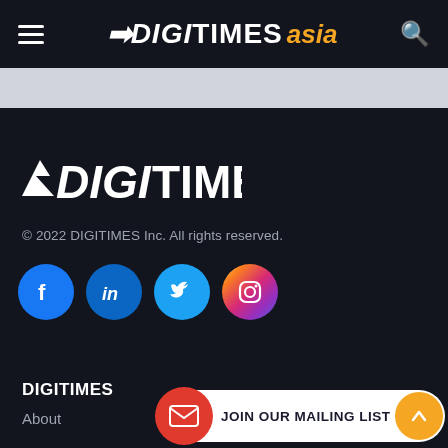DIGITIMES asia
[Figure (logo): Digitimes logo in white on dark background]
© 2022 DIGITIMES Inc. All rights reserved.
[Figure (infographic): Social media icons: Facebook, LinkedIn, Twitter, Instagram]
DIGITIMES
About
JOIN OUR MAILING LIST